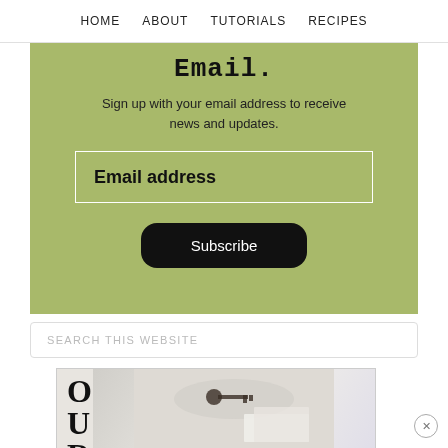HOME   ABOUT   TUTORIALS   RECIPES
Email.
Sign up with your email address to receive news and updates.
Email address
Subscribe
SEARCH THIS WEBSITE
[Figure (screenshot): Partial image of a magazine/blog cover showing large decorative letters O, U, R on the left side, with a styled photo of white objects on the right]